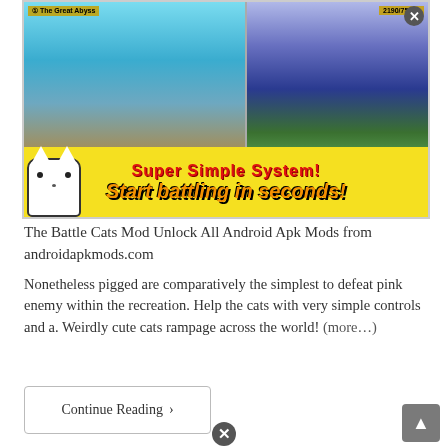[Figure (screenshot): Screenshot of The Battle Cats mobile game showing cartoon cat characters battling enemies in two scenes, with a yellow banner reading 'Super Simple System! Start battling in seconds!']
The Battle Cats Mod Unlock All Android Apk Mods from androidapkmods.com
Nonetheless pigged are comparatively the simplest to defeat pink enemy within the recreation. Help the cats with very simple controls and a. Weirdly cute cats rampage across the world! (more…)
Continue Reading ›